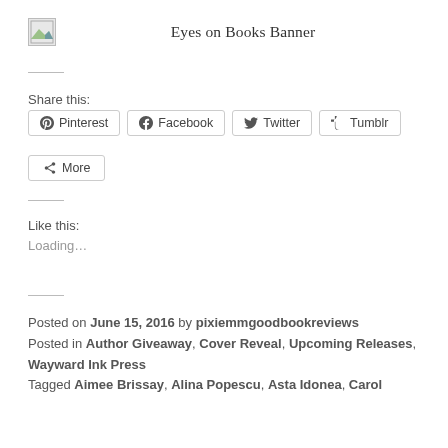[Figure (illustration): Broken image placeholder icon with landscape thumbnail]
Eyes on Books Banner
Share this:
Pinterest   Facebook   Twitter   Tumblr   More
Like this:
Loading...
Posted on June 15, 2016 by pixiemmgoodbookreviews
Posted in Author Giveaway, Cover Reveal, Upcoming Releases, Wayward Ink Press
Tagged Aimee Brissay, Alina Popescu, Asta Idonea, Carol